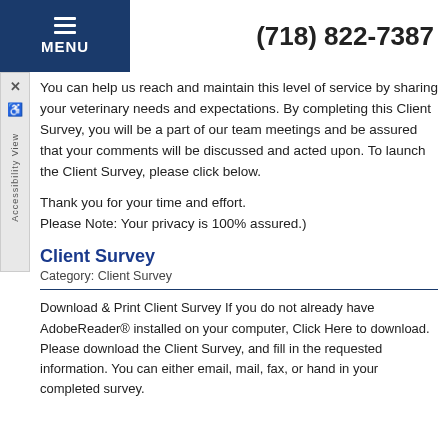MENU  (718) 822-7387
You can help us reach and maintain this level of service by sharing your veterinary needs and expectations. By completing this Client Survey, you will be a part of our team meetings and be assured that your comments will be discussed and acted upon. To launch the Client Survey, please click below.
Thank you for your time and effort.
Please Note: Your privacy is 100% assured.)
Client Survey
Category: Client Survey
Download & Print Client Survey If you do not already have AdobeReader® installed on your computer, Click Here to download. Please download the Client Survey, and fill in the requested information. You can either email, mail, fax, or hand in your completed survey.